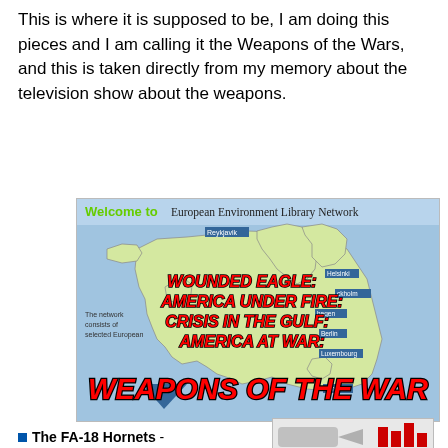This is where it is supposed to be, I am doing this pieces and I am calling it the Weapons of the Wars, and this is taken directly from my memory about the television show about the weapons.
[Figure (screenshot): Screenshot of a website showing 'Welcome to European Environment Library Network' with a map of Europe overlaid with large red italic text reading 'WOUNDED EAGLE: AMERICA UNDER FIRE: CRISIS IN THE GULF: AMERICA AT WAR:' and at the bottom 'WEAPONS OF THE WAR']
The FA-18 Hornets - This is a jet which is
[Figure (photo): Partial image of what appears to be military aircraft or related imagery, partially visible at bottom right]